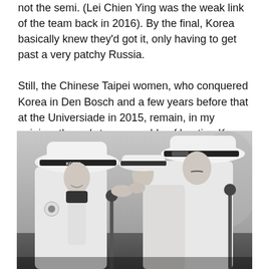not the semi. (Lei Chien Ying was the weak link of the team back in 2016). By the final, Korea basically knew they'd got it, only having to get past a very patchy Russia.

Still, the Chinese Taipei women, who conquered Korea in Den Bosch and a few years before that at the Universiade in 2015, remain, in my opinion, the only team capable of beating Korea – and it won't happen in the semi-final.
[Figure (photo): Black and white photo of Korean women archers in white uniforms and wide-brimmed hats with black bands, embracing or interacting closely. One archer's uniform reads 'KOR' and another's hat shows 'KOREA'. The image is cropped at the bottom.]